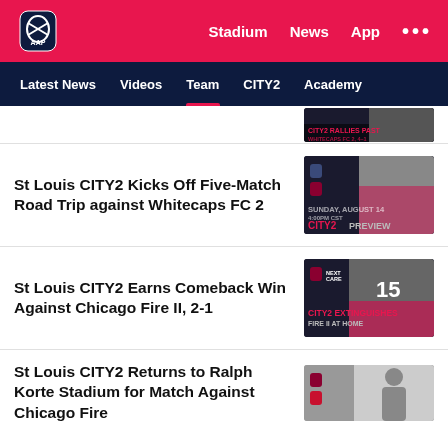Stadium | News | App | ...
Latest News | Videos | Team | CITY2 | Academy
[Figure (screenshot): Partial news thumbnail showing CITY2 RALLIES PAST WHITECAPS FC 2, 4-1]
St Louis CITY2 Kicks Off Five-Match Road Trip against Whitecaps FC 2
[Figure (screenshot): News thumbnail: CITY2 PREVIEW, Sunday August 14 4:00pm CST, player photo in black and white with pink overlay]
St Louis CITY2 Earns Comeback Win Against Chicago Fire II, 2-1
[Figure (screenshot): News thumbnail: CITY2 EXTINGUISHES FIRE II AT HOME, player wearing #15 jersey]
St Louis CITY2 Returns to Ralph Korte Stadium for Match Against Chicago Fire